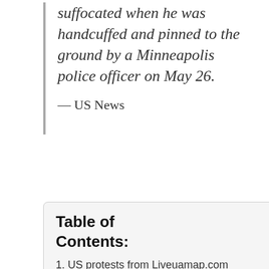suffocated when he was handcuffed and pinned to the ground by a Minneapolis police officer on May 26.
— US News
Table of Contents:
1. US protests from Liveuamap.com
2. How to find Peaceful Protest groups
2.1. Largest Peaceful Protest groups Meetups
2.2. Application for peaceful